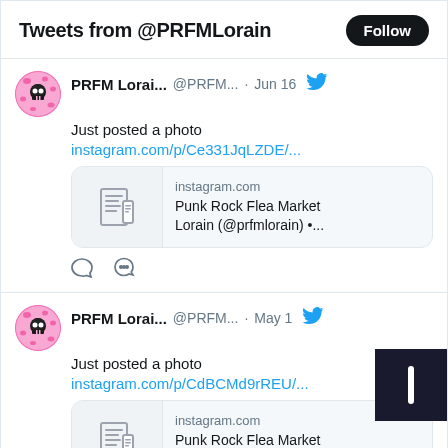Tweets from @PRFMLorain
PRFM Lorai... @PRFM... · Jun 16
Just posted a photo
instagram.com/p/Ce331JqLZDE/...
instagram.com
Punk Rock Flea Market Lorain (@prfmlorain) •...
PRFM Lorai... @PRFM... · May 1
Just posted a photo
instagram.com/p/CdBCMd9rREU/...
instagram.com
Punk Rock Flea Market Lorain (@prfmlorain) •...